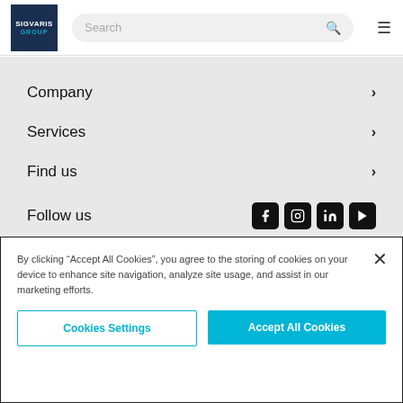[Figure (logo): SIGVARIS GROUP logo — dark navy blue square with white SIGVARIS text and cyan GROUP text below]
Company
Services
Find us
Follow us
By clicking “Accept All Cookies”, you agree to the storing of cookies on your device to enhance site navigation, analyze site usage, and assist in our marketing efforts.
Cookies Settings
Accept All Cookies